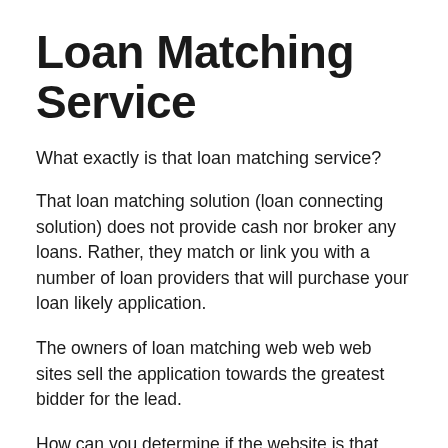Loan Matching Service
What exactly is that loan matching service?
That loan matching solution (loan connecting solution) does not provide cash nor broker any loans. Rather, they match or link you with a number of loan providers that will purchase your loan likely application.
The owners of loan matching web web web sites sell the application towards the greatest bidder for the lead.
How can you determine if the website is that loan matching solution website?